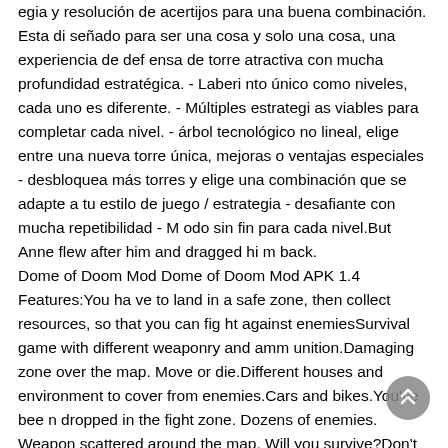egia y resolución de acertijos para una buena combinación. Esta di señado para ser una cosa y solo una cosa, una experiencia de defensa de torre atractiva con mucha profundidad estratégica. - Laberinto único como niveles, cada uno es diferente. - Múltiples estrategias viables para completar cada nivel. - árbol tecnológico no lineal, elige entre una nueva torre única, mejoras o ventajas especiales - desbloquea más torres y elige una combinación que se adapte a tu estilo de juego / estrategia - desafiante con mucha repetibilidad - Modo sin fin para cada nivel.But Anne flew after him and dragged him back.
Dome of Doom Mod Dome of Doom Mod APK 1.4 Features:You have to land in a safe zone, then collect resources, so that you can fight against enemiesSurvival game with different weaponry and ammunition.Damaging zone over the map. Move or die.Different houses and environment to cover from enemies.Cars and bikes.You've been dropped in the fight zone. Dozens of enemies. Weapon scattered around the map. Will you survive?Don't mess around. The deadly z